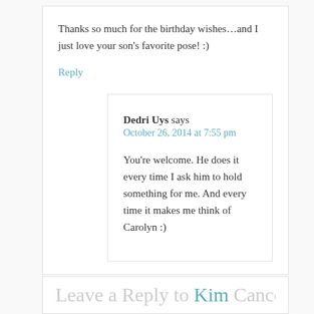Thanks so much for the birthday wishes…and I just love your son's favorite pose! :)
Reply
Dedri Uys says
October 26, 2014 at 7:55 pm
You're welcome. He does it every time I ask him to hold something for me. And every time it makes me think of Carolyn :)
Leave a Reply to Kim Cancel reply